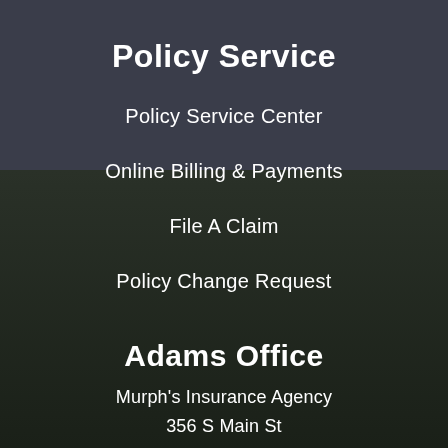Policy Service
Policy Service Center
Online Billing & Payments
File A Claim
Policy Change Request
Adams Office
Murph's Insurance Agency
356 S Main St